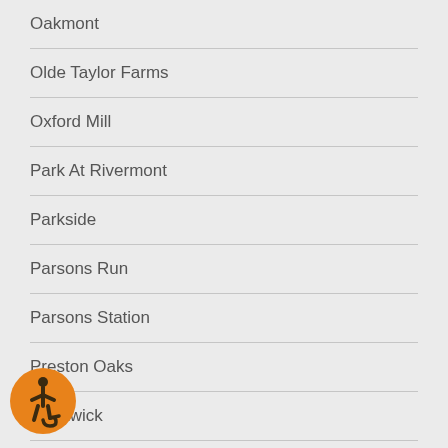Oakmont
Olde Taylor Farms
Oxford Mill
Park At Rivermont
Parkside
Parsons Run
Parsons Station
Preston Oaks
Prestwick
Queensbury
Randolph Hall
Reserve at Foxdale
[Figure (illustration): Orange circle accessibility icon showing a person in a wheelchair]